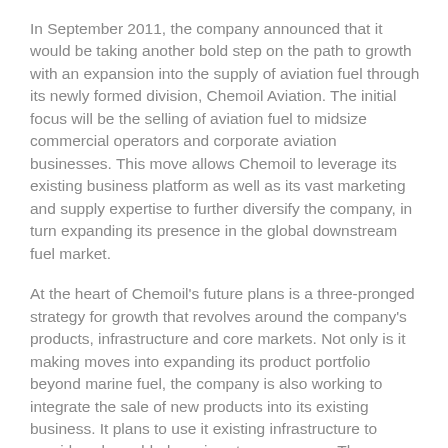In September 2011, the company announced that it would be taking another bold step on the path to growth with an expansion into the supply of aviation fuel through its newly formed division, Chemoil Aviation. The initial focus will be the selling of aviation fuel to midsize commercial operators and corporate aviation businesses. This move allows Chemoil to leverage its existing business platform as well as its vast marketing and supply expertise to further diversify the company, in turn expanding its presence in the global downstream fuel market.
At the heart of Chemoil's future plans is a three-pronged strategy for growth that revolves around the company's products, infrastructure and core markets. Not only is it making moves into expanding its product portfolio beyond marine fuel, the company is also working to integrate the sale of new products into its existing business. It plans to use it existing infrastructure to provide value-added services to consumers. The company's infrastructure is itself to be utilised through a programme of investment in its existing and new terminals, pipelines, barges, shipping and other assets. Furthermore, if the right opportunity arises, Chemoil would consider venturing into new geographical markets, and this could be